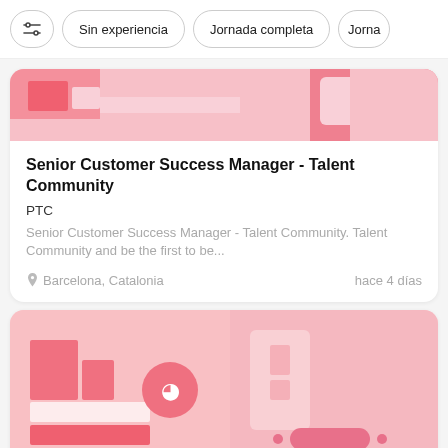Sin experiencia | Jornada completa | Jorna...
[Figure (illustration): Decorative pink abstract illustration at the top of a job listing card]
Senior Customer Success Manager - Talent Community
PTC
Senior Customer Success Manager - Talent Community. Talent Community and be the first to be...
Barcelona, Catalonia    hace 4 días
[Figure (illustration): Decorative pink abstract illustration at the top of a second job listing card, partially visible]